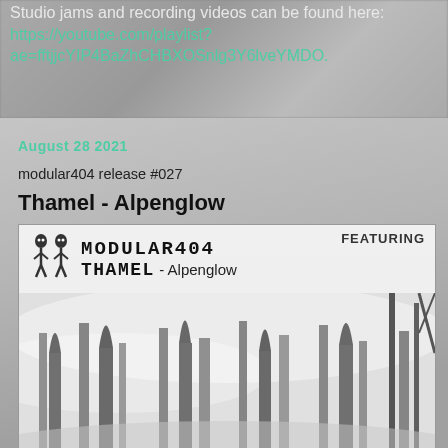Studio jams and recording videos can be found here: https://youtube.com/playlist?ae=fftjjcYIP4BaZhCHBXOSnlg3Y6lveYMDO.
August 28 2021
modular404 release #027
Thamel - Alpenglow
[Figure (illustration): Album art for Modular404 featuring Thamel - Alpenglow. Header shows MODULAR404 logo with two alien figures, THAMEL - Alpenglow text, and FEATURING label. Background shows misty forest with tall trees in black and white.]